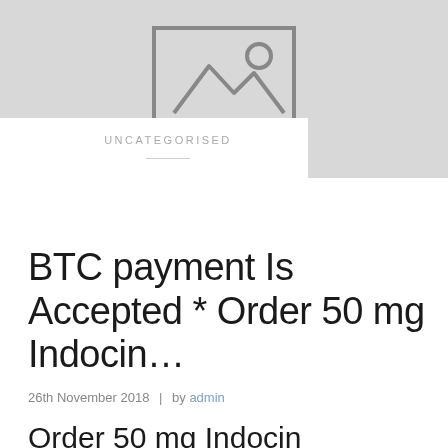[Figure (illustration): Placeholder image thumbnail with grey background and image icon (mountain/landscape icon outline)]
UNCATEGORISED
BTC payment Is Accepted * Order 50 mg Indocin…
26th November 2018  |  by admin
Order 50 mg Indocin